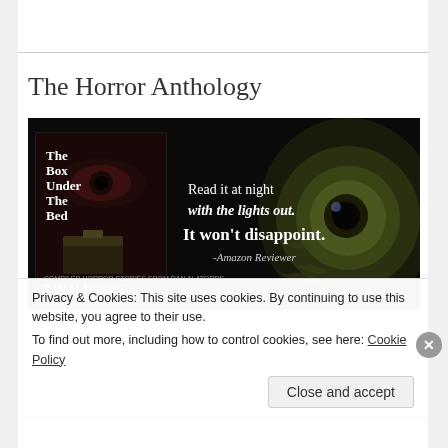The Horror Anthology
[Figure (photo): Book promotional banner for 'The Box Under The Bed' by Dan Alatorre. Dark background with a close-up of an owl's eye on the right. On the left is the book cover showing an eye and a box. Text reads: 'Read it at night with the lights out. It won't disappoint. -Amazon Reviewer']
Privacy & Cookies: This site uses cookies. By continuing to use this website, you agree to their use.
To find out more, including how to control cookies, see here: Cookie Policy
Close and accept